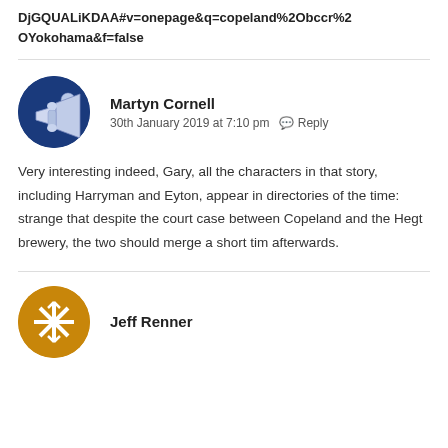DjGQUALiKDAA#v=onepage&q=copeland%2Obccr%2OYokohama&f=false
Martyn Cornell
30th January 2019 at 7:10 pm   Reply
Very interesting indeed, Gary, all the characters in that story, including Harryman and Eyton, appear in directories of the time: strange that despite the court case between Copeland and the Hegt brewery, the two should merge a short tim afterwards.
Jeff Renner